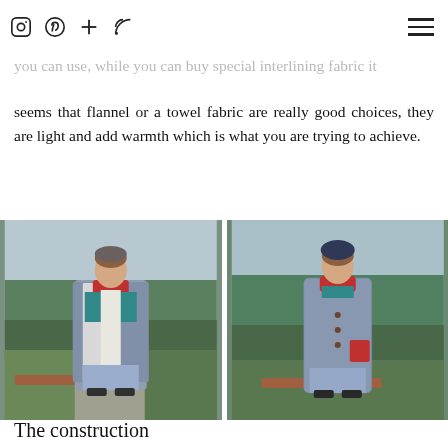Social media icons and navigation hamburger menu
fabric. I read quite a lot about interlining to prepare for this post and it is quite interesting to think about what fabrics you can use, while you can buy special interlining fabric it seems that flannel or a towel fabric are really good choices, they are light and add warmth which is what you are trying to achieve.
[Figure (photo): Two photos side by side of a young woman wearing a handmade coat with red accents and a blue hat, standing outdoors in a garden with green grass and bare trees. Left photo shows the coat open revealing the lining; right photo shows the coat closed.]
The construction